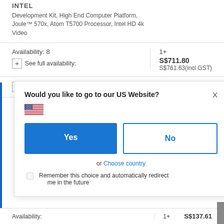INTEL
Development Kit, High End Computer Platform, Joule™ 570x, Atom T5700 Processor, Intel HD 4k Video
| Availability | Qty | Price |
| --- | --- | --- |
| Availability: 8
+ See full availability: | 1+ | S$711.80
S$761.63(incl GST) |
+ Extended attributes:
[Figure (screenshot): Modal dialog asking 'Would you like to go to our US Website?' with US flag, Yes and No buttons, 'or Choose country' link, and 'Remember this choice and automatically redirect me in the future' checkbox.]
| Availability | Qty | Price |
| --- | --- | --- |
| Availability: | 1+ | S$137.61 |